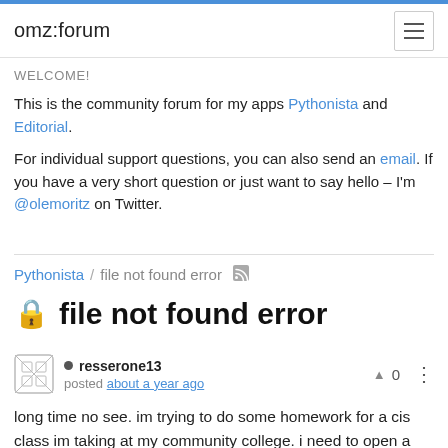omz:forum
WELCOME!
This is the community forum for my apps Pythonista and Editorial.
For individual support questions, you can also send an email. If you have a very short question or just want to say hello – I'm @olemoritz on Twitter.
Pythonista / file not found error
🔒 file not found error
resserone13 posted about a year ago
long time no see. im trying to do some homework for a cis class im taking at my community college. i need to open a file and its saying file not found. another bull fn ish error that i cant figure out. keeps